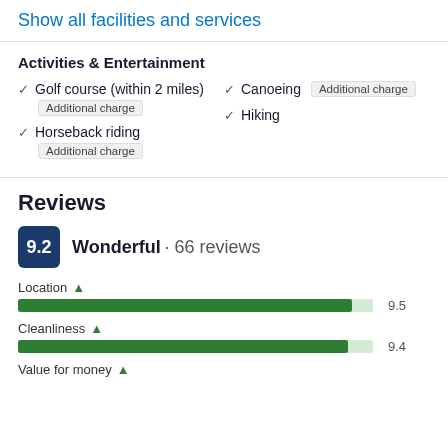Show all facilities and services
Activities & Entertainment
Golf course (within 2 miles) Additional charge
Horseback riding Additional charge
Canoeing Additional charge
Hiking
Reviews
9.2 Wonderful · 66 reviews
Location ↑ 9.5
Cleanliness ↑ 9.4
Value for money ↑